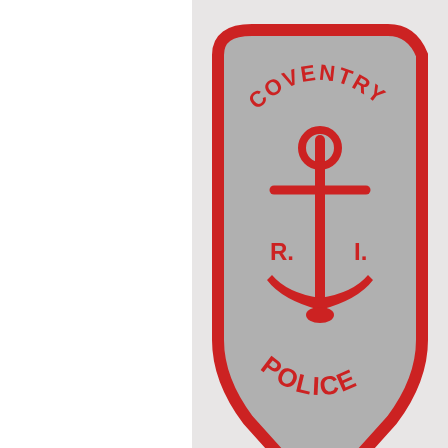[Figure (photo): Coventry Police patch, grey version with red border and red anchor and 'R.I. POLICE' text, shield shape]
Coventry Police
Grey Version
Worn until 1968
[Figure (photo): Town of Coventry police patch, grey and yellow shield shape with 'TOWN OF COVENTRY' in red, yellow eagle, green foliage, blue stripe, and building/lantern emblems]